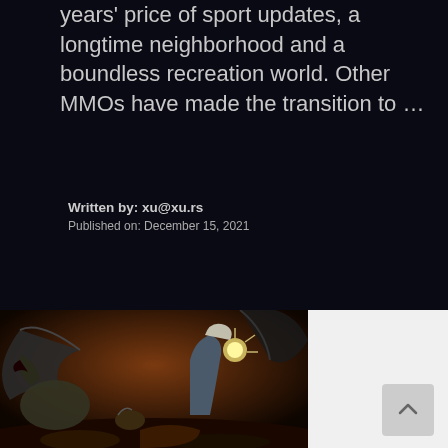years price of sport updates, a longtime neighborhood and a boundless recreation world. Other MMOs have made the transition to …
Written by: xu@xu.rs
Published on: December 15, 2021
[Figure (illustration): Fantasy scene with warriors battling dragons in a dark reddish-brown environment. Characters include a robed figure with glowing hands and armored fighters facing large winged creatures.]